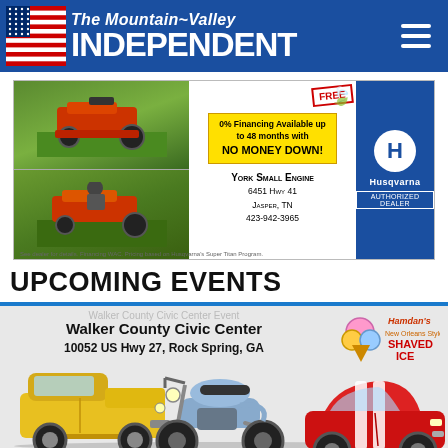The Mountain~Valley INDEPENDENT
[Figure (photo): Advertisement for York Small Engine Husqvarna dealer showing riding lawn mowers, 0% financing up to 48 months with no money down, FREE item offer, York Small Engine 6451 Hwy 41 Jasper TN 423-942-3965, Husqvarna Authorized Dealer logo]
UPCOMING EVENTS
[Figure (photo): Car show advertisement featuring Walker County Civic Center, 10052 US Hwy 27, Rock Spring, GA, with images of a yellow vintage truck, a motorcycle, a red sports car (Mustang), and a Hamdan's Shaved Ice logo]